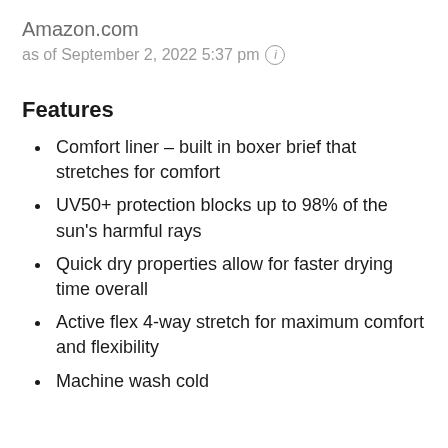Amazon.com
as of September 2, 2022 5:37 pm ⓘ
Features
Comfort liner – built in boxer brief that stretches for comfort
UV50+ protection blocks up to 98% of the sun's harmful rays
Quick dry properties allow for faster drying time overall
Active flex 4-way stretch for maximum comfort and flexibility
Machine wash cold